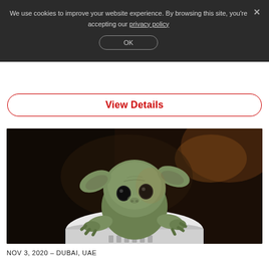We use cookies to improve your website experience. By browsing this site, you're accepting our privacy policy
OK
View Details
[Figure (photo): A small green alien creature resembling Baby Yoda from The Mandalorian, sitting in a round white pod/vessel, looking upward with large dark eyes. Dark moody background with warm amber/orange tones.]
NOV 3, 2020 – DUBAI, UAE